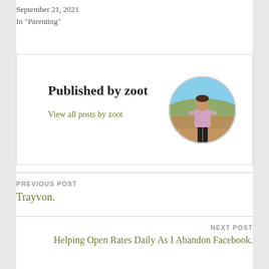September 21, 2021
In "Parenting"
Published by zoot
View all posts by zoot
[Figure (photo): Circular avatar photo of a person standing on a rocky overlook with a landscape visible behind them]
PREVIOUS POST
Trayvon.
NEXT POST
Helping Open Rates Daily As I Abandon Facebook.